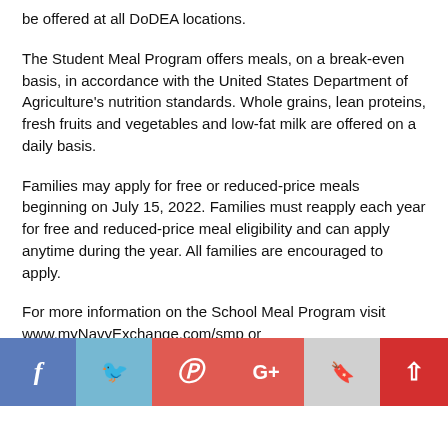be offered at all DoDEA locations.
The Student Meal Program offers meals, on a break-even basis, in accordance with the United States Department of Agriculture’s nutrition standards. Whole grains, lean proteins, fresh fruits and vegetables and low-fat milk are offered on a daily basis.
Families may apply for free or reduced-price meals beginning on July 15, 2022. Families must reapply each year for free and reduced-price meal eligibility and can apply anytime during the year. All families are encouraged to apply.
For more information on the School Meal Program visit www.myNavyExchange.com/smp or https://www.aafes.com/about-exchange/school-lunch-program/.
[Figure (other): Social media sharing bar with Facebook, Twitter, Pinterest, Google+, bookmark, and scroll-to-top buttons]